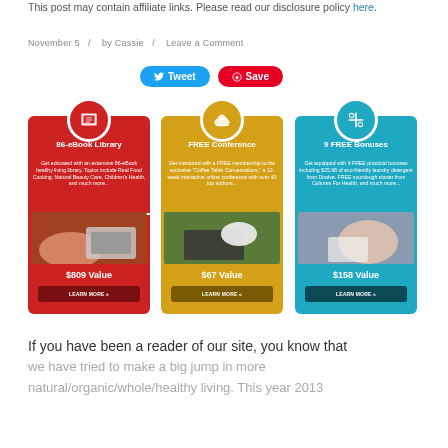This post may contain affiliate links. Please read our disclosure policy here.
November 5 / by Cassie / Leave a Comment
[Figure (infographic): Social sharing buttons: Tweet button (blue) and Save button (red/Pinterest)]
[Figure (infographic): Three promotional cards side by side with plus signs between them. Red card: 86-eBook Library, $809 Value, LEARN MORE button. Yellow card: FREE Conference, $67 Value, LEARN MORE button. Blue card: 9 FREE Bonuses, $158 Value, LEARN MORE button.]
If you have been a reader of our site, you know that we have tried to make a big jump in more natural/organic/whole/healthy living. This year 2013